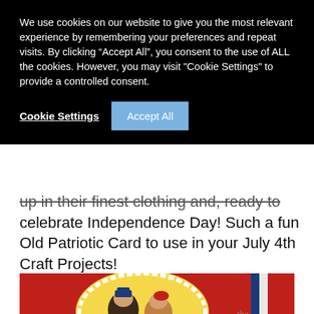We use cookies on our website to give you the most relevant experience by remembering your preferences and repeat visits. By clicking “Accept All”, you consent to the use of ALL the cookies. However, you may visit "Cookie Settings" to provide a controlled consent.
Cookie Settings | Accept All
up in their finest clothing and, ready to celebrate Independence Day! Such a fun Old Patriotic Card to use in your July 4th Craft Projects!
[Figure (photo): Vintage patriotic postcard showing children dressed in patriotic clothing with red and white background, text reads 'the Day we']